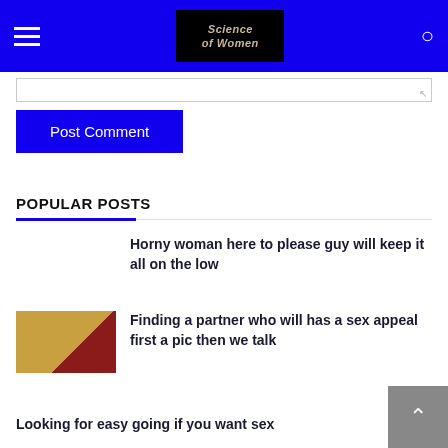Science of Women
Post Comment
POPULAR POSTS
Horny woman here to please guy will keep it all on the low
Finding a partner who will has a sex appeal first a pic then we talk
Looking for easy going if you want sex